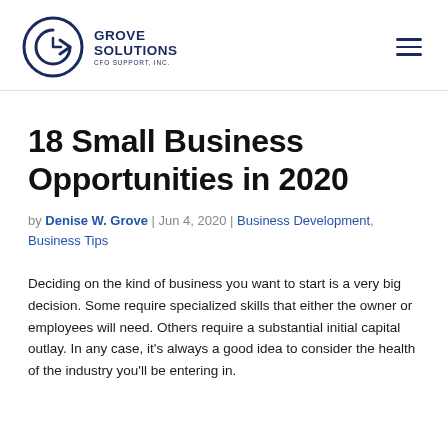Grove Solutions CFO Support, Inc.
18 Small Business Opportunities in 2020
by Denise W. Grove | Jun 4, 2020 | Business Development, Business Tips
Deciding on the kind of business you want to start is a very big decision. Some require specialized skills that either the owner or employees will need. Others require a substantial initial capital outlay. In any case, it’s always a good idea to consider the health of the industry you’ll be entering in.